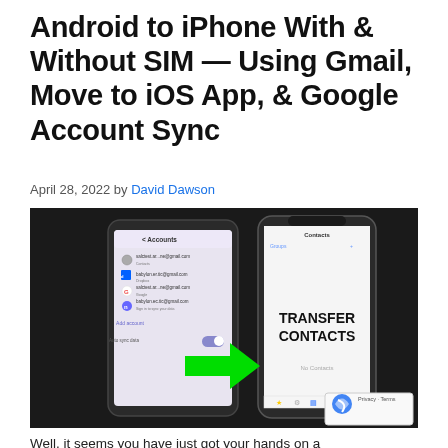Android to iPhone With & Without SIM — Using Gmail, Move to iOS App, & Google Account Sync
April 28, 2022 by David Dawson
[Figure (photo): Two smartphones side by side on a dark surface. The left phone (Android) shows an Accounts screen with multiple Gmail accounts listed. A large green arrow points right toward the iPhone (right phone) which shows a Contacts screen with 'TRANSFER CONTACTS' text overlaid in bold black. A reCAPTCHA widget appears in the bottom-right corner.]
Well, it seems you have just got your hands on a